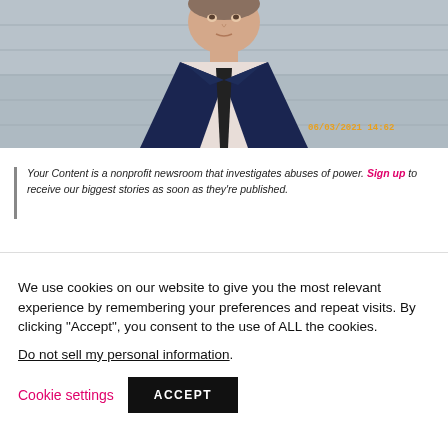[Figure (photo): Mugshot-style photo of a man in a dark suit jacket, white/light pink dress shirt, and dark tie, standing against a concrete block wall. Timestamp '06/03/2021 14:62' visible in lower right corner.]
Your Content is a nonprofit newsroom that investigates abuses of power. Sign up to receive our biggest stories as soon as they're published.
We use cookies on our website to give you the most relevant experience by remembering your preferences and repeat visits. By clicking “Accept”, you consent to the use of ALL the cookies.
Do not sell my personal information.
Cookie settings
ACCEPT